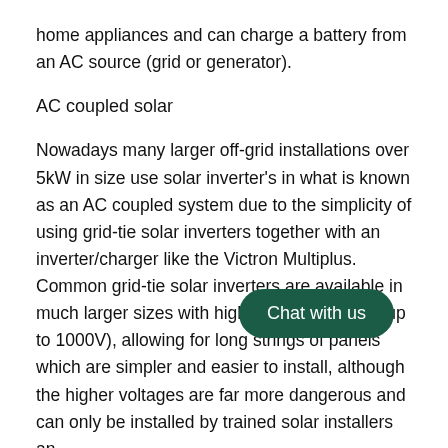home appliances and can charge a battery from an AC source (grid or generator).
AC coupled solar
Nowadays many larger off-grid installations over 5kW in size use solar inverter’s in what is known as an AC coupled system due to the simplicity of using grid-tie solar inverters together with an inverter/charger like the Victron Multiplus. Common grid-tie solar inverters are available in much larger sizes with higher input voltages (up to 1000V), allowing for long strings of panels which are simpler and easier to install, although the higher voltages are far more dangerous and can only be installed by trained solar installers an
[Figure (other): Chat with us button overlay]
Unlike DC coupled off-grid solar systems, one of the